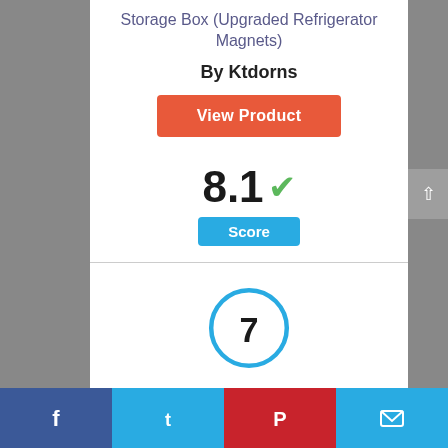Storage Box (Upgraded Refrigerator Magnets)
By Ktdorns
View Product
8.1 ✓
Score
[Figure (infographic): Circle badge with number 7 inside, outlined in blue]
Facebook | Twitter | Pinterest | Email social share bar